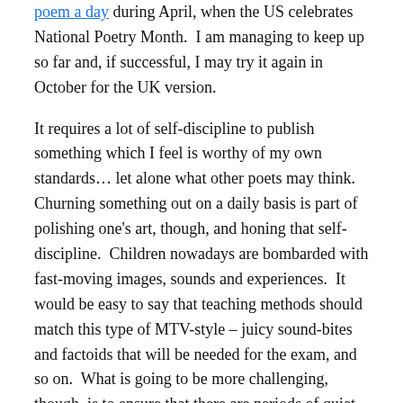poem a day during April, when the US celebrates National Poetry Month.  I am managing to keep up so far and, if successful, I may try it again in October for the UK version.
It requires a lot of self-discipline to publish something which I feel is worthy of my own standards… let alone what other poets may think.  Churning something out on a daily basis is part of polishing one's art, though, and honing that self-discipline.  Children nowadays are bombarded with fast-moving images, sounds and experiences.  It would be easy to say that teaching methods should match this type of MTV-style – juicy sound-bites and factoids that will be needed for the exam, and so on.  What is going to be more challenging, though, is to ensure that there are periods of quiet reflection built into that.  Excitement and stimulation are vital for